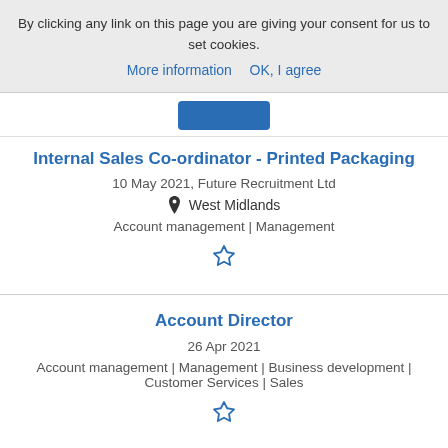By clicking any link on this page you are giving your consent for us to set cookies.
More information   OK, I agree
Internal Sales Co-ordinator - Printed Packaging
10 May 2021, Future Recruitment Ltd
West Midlands
Account management | Management
[Figure (illustration): Star/favourite icon (outline star)]
Account Director
26 Apr 2021
Account management | Management | Business development | Customer Services | Sales
[Figure (illustration): Star/favourite icon (outline star)]